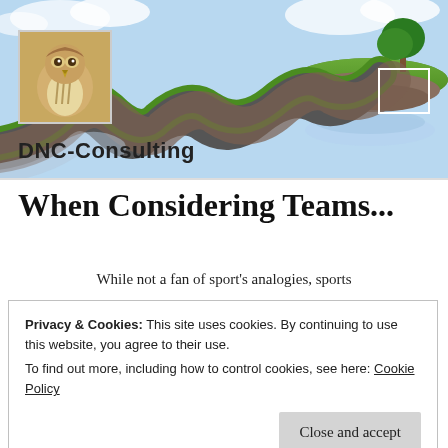[Figure (photo): Website header banner showing a winding road on floating green grass islands in a blue sky, with a hawk/falcon portrait photo in the upper left and a white outlined rectangle in the upper right.]
DNC-Consulting
When Considering Teams...
While not a fan of sport's analogies, sports
Privacy & Cookies: This site uses cookies. By continuing to use this website, you agree to their use.
To find out more, including how to control cookies, see here: Cookie Policy
Close and accept
a myth surrounding ‘Dream Teams’ as a method for